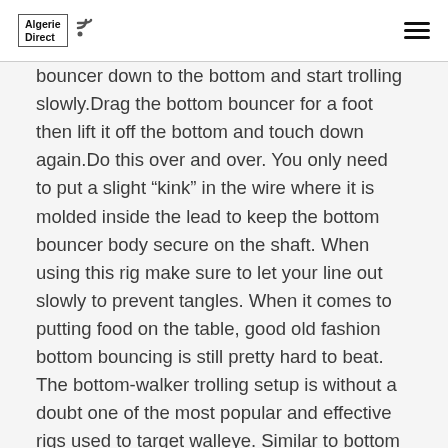Algerie Direct
bouncer down to the bottom and start trolling slowly.Drag the bottom bouncer for a foot then lift it off the bottom and touch down again.Do this over and over. You only need to put a slight “kink” in the wire where it is molded inside the lead to keep the bottom bouncer body secure on the shaft. When using this rig make sure to let your line out slowly to prevent tangles. When it comes to putting food on the table, good old fashion bottom bouncing is still pretty hard to beat. The bottom-walker trolling setup is without a doubt one of the most popular and effective rigs used to target walleye. Similar to bottom bouncer, the pencil weights come a smaller 6″ height (4) and the more standard 10″ to 12″ height or you can make your own with pencil lead (5). G) Bottom bouncer pulling a Victor spoon with a